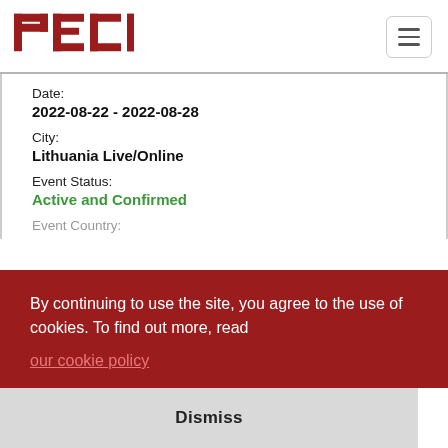PECB
Date:
2022-08-22 - 2022-08-28
City:
Lithuania Live/Online
Event Status:
Active and Confirmed
Event Country:
By continuing to use the site, you agree to the use of cookies. To find out more, read our cookie policy
Dismiss